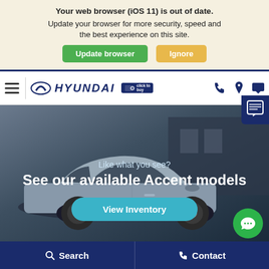Your web browser (iOS 11) is out of date. Update your browser for more security, speed and the best experience on this site.
[Figure (screenshot): Browser update warning banner with green 'Update browser' button and orange 'Ignore' button]
[Figure (screenshot): Hyundai website navigation bar with hamburger menu, Hyundai logo, Click to Buy badge, phone, location, and chat icons]
[Figure (photo): Hero image showing a silver Hyundai Accent car with overlay text 'Like what you see?' and 'See our available Accent models' with a teal 'View Inventory' button]
Like what you see?
See our available Accent models
[Figure (screenshot): Bottom navigation bar with Search and Contact buttons on dark blue background]